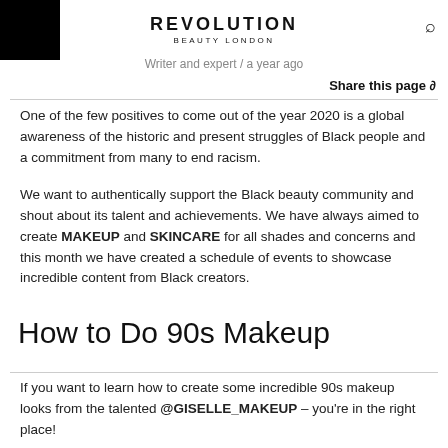REVOLUTION BEAUTY LONDON
Writer and expert / a year ago
Share this page
One of the few positives to come out of the year 2020 is a global awareness of the historic and present struggles of Black people and a commitment from many to end racism.
We want to authentically support the Black beauty community and shout about its talent and achievements. We have always aimed to create MAKEUP and SKINCARE for all shades and concerns and this month we have created a schedule of events to showcase incredible content from Black creators.
How to Do 90s Makeup
If you want to learn how to create some incredible 90s makeup looks from the talented @GISELLE_MAKEUP – you're in the right place!
Giselle is a professional MUA with years of experience in beauty. She has an incredible client list and we have to say...